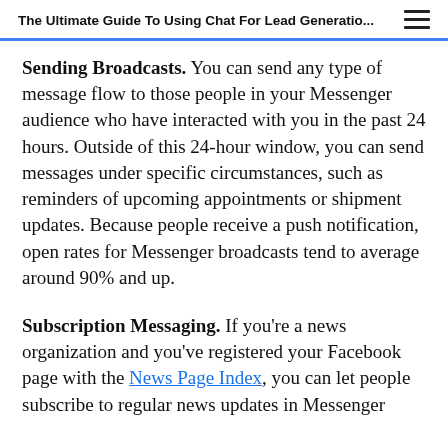The Ultimate Guide To Using Chat For Lead Generatio...
Sending Broadcasts. You can send any type of message flow to those people in your Messenger audience who have interacted with you in the past 24 hours. Outside of this 24-hour window, you can send messages under specific circumstances, such as reminders of upcoming appointments or shipment updates. Because people receive a push notification, open rates for Messenger broadcasts tend to average around 90% and up.
Subscription Messaging. If you're a news organization and you've registered your Facebook page with the News Page Index, you can let people subscribe to regular news updates in Messenger